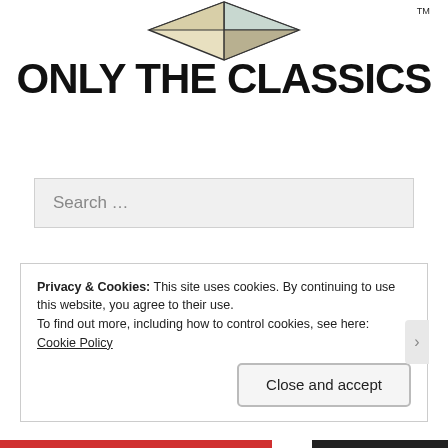[Figure (logo): Diamond/cube shaped logo at the top center of the page with TM trademark symbol in top right]
ONLY THE CLASSICS
Search ...
Follow Blog via Email
Enter your email address to follow this blog and receive notifications of new posts by email.
Privacy & Cookies: This site uses cookies. By continuing to use this website, you agree to their use.
To find out more, including how to control cookies, see here: Cookie Policy
Close and accept